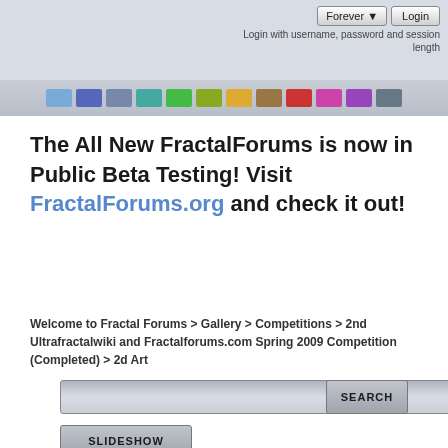Forever ▼  Login
Login with username, password and session length
[Figure (other): A row of colored theme swatches: light blue, dark blue, gray-blue, teal, green, olive, orange, brown, red, pink/magenta, purple, dark gray]
The All New FractalForums is now in Public Beta Testing! Visit FractalForums.org and check it out!
Welcome to Fractal Forums > Gallery > Competitions > 2nd Ultrafractalwiki and Fractalforums.com Spring 2009 Competition (Completed) > 2d Art
SEARCH
SLIDESHOW